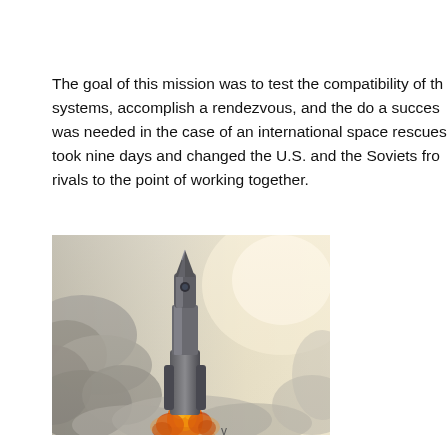The goal of this mission was to test the compatibility of the systems, accomplish a rendezvous, and the do a success was needed in the case of an international space rescues took nine days and changed the U.S. and the Soviets fro rivals to the point of working together.
[Figure (photo): A rocket launching with bright rocket exhaust flames against a dramatic cloudy sky with hazy sunlight in the background.]
v